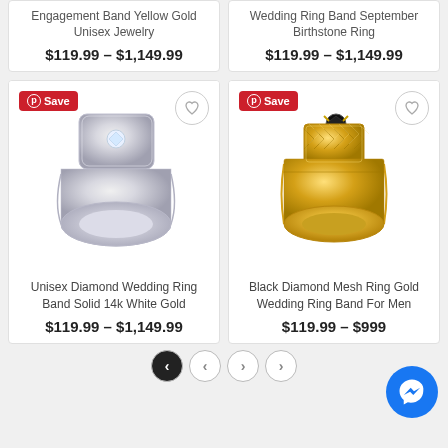Engagement Band Yellow Gold Unisex Jewelry
$119.99 – $1,149.99
Wedding Ring Band September Birthstone Ring
$119.99 – $1,149.99
[Figure (photo): Silver/white gold signet-style ring with diamond center stone]
Unisex Diamond Wedding Ring Band Solid 14k White Gold
$119.99 – $1,149.99
[Figure (photo): Yellow gold mesh wedding ring band with black diamond for men]
Black Diamond Mesh Ring Gold Wedding Ring Band For Men
$119.99 – $999...